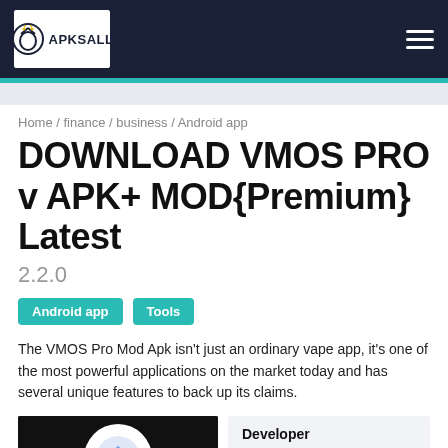APKSALL
Home / finance / business / Android app
DOWNLOAD VMOS PRO v APK+ MOD{Premium} Latest
2.2.0
Android app
Tools
The VMOS Pro Mod Apk isn't just an ordinary vape app, it's one of the most powerful applications on the market today and has several unique features to back up its claims.
[Figure (photo): App icon/screenshot on black background showing circular white logo]
| Developer |
| --- |
| vmos |